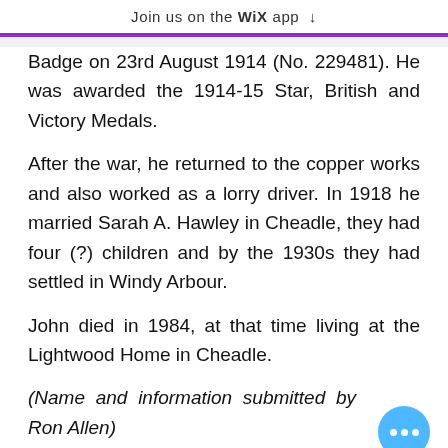Join us on the WiX app ↓
Badge on 23rd August 1914 (No. 229481). He was awarded the 1914-15 Star, British and Victory Medals.
After the war, he returned to the copper works and also worked as a lorry driver. In 1918 he married Sarah A. Hawley in Cheadle, they had four (?) children and by the 1930s they had settled in Windy Arbour.
John died in 1984, at that time living at the Lightwood Home in Cheadle.
(Name and information submitted by Ron Allen)